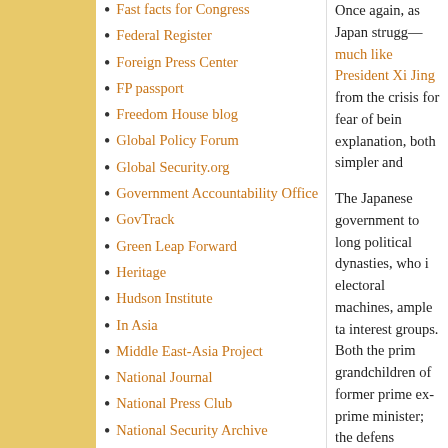Fast facts for Congress
Federal Register
Foreign Press Center
FP passport
Freedom House blog
Global Policy Forum
Global Security.org
Government Accountability Office
GovTrack
Green Leap Forward
Heritage
Hudson Institute
In Asia
Middle East-Asia Project
National Journal
National Press Club
National Security Archive
NK: Witness to Transformation
Once again, as Japan strugg— much like President Xi Jing from the crisis for fear of bein explanation, both simpler and
The Japanese government to long political dynasties, who i electoral machines, ample ta interest groups. Both the prim grandchildren of former prime ex-prime minister; the defens
Mr. Abe owes his premiership Japanese people.
More than one-third of the la politicians. Mr. Abe, who first L.D.P. in September 2012 — premiership again — even th distant second out of five can who are parliamentarians are sons or grandsons of former lawmakers. The Japanese go opportunistic sycophants, an